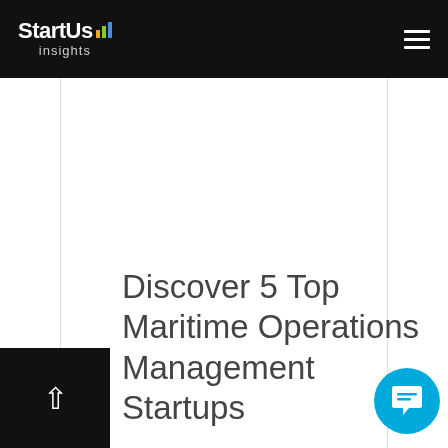StartUs insights
Discover 5 Top Maritime Operations Management Startups